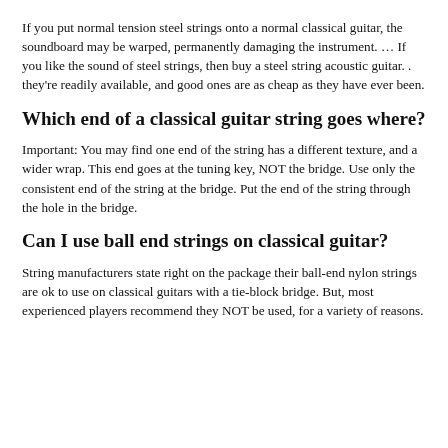If you put normal tension steel strings onto a normal classical guitar, the soundboard may be warped, permanently damaging the instrument. … If you like the sound of steel strings, then buy a steel string acoustic guitar. . they're readily available, and good ones are as cheap as they have ever been.
Which end of a classical guitar string goes where?
Important: You may find one end of the string has a different texture, and a wider wrap. This end goes at the tuning key, NOT the bridge. Use only the consistent end of the string at the bridge. Put the end of the string through the hole in the bridge.
Can I use ball end strings on classical guitar?
String manufacturers state right on the package their ball-end nylon strings are ok to use on classical guitars with a tie-block bridge. But, most experienced players recommend they NOT be used, for a variety of reasons.